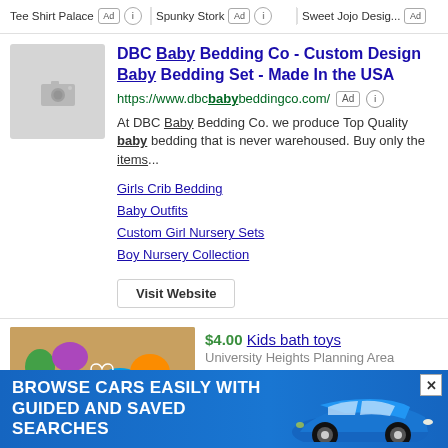Tee Shirt Palace [Ad] [i]   Spunky Stork [Ad] [i]   Sweet Jojo Desig... [Ad]
[Figure (screenshot): Ad listing for DBC Baby Bedding Co with thumbnail image placeholder, URL, description, sub-links, and Visit Website button]
[Figure (screenshot): Product listing: $4.00 Kids bath toys, University Heights Planning Area]
[Figure (advertisement): Blue banner ad: BROWSE CARS EASILY WITH GUIDED AND SAVED SEARCHES with image of blue BMW car]